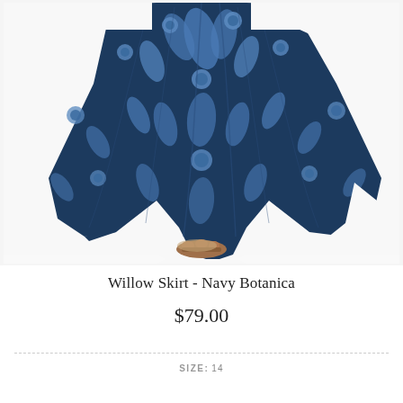[Figure (photo): A flowing maxi skirt with a navy botanica floral print (dark navy base with lighter blue tropical leaf and flower pattern), shown on a model from waist down, wearing tan sandals. The skirt has a handkerchief hem silhouette.]
Willow Skirt - Navy Botanica
$79.00
SIZE: 14